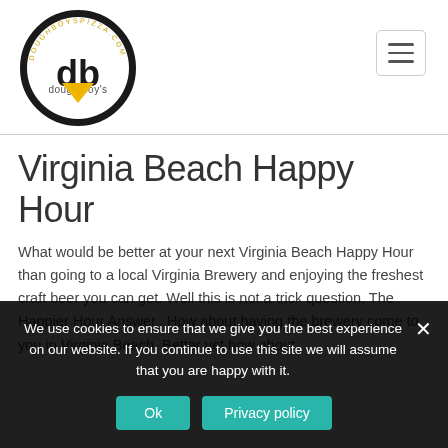[Figure (logo): Dough Boy's Pizza circular logo with black circle border, yellow pizza slice icon at bottom, and 'db' text in center with 'dough boy's' text below]
Virginia Beach Happy Hour
What would be better at your next Virginia Beach Happy Hour than going to a local Virginia Brewery and enjoying the freshest craft beer you can get. Well this is not a trick question. The Happier Hour Answer.. How about having the brewery come to you in Virginia Beach. Better yet how about
We use cookies to ensure that we give you the best experience on our website. If you continue to use this site we will assume that you are happy with it.
Ok
Privacy policy